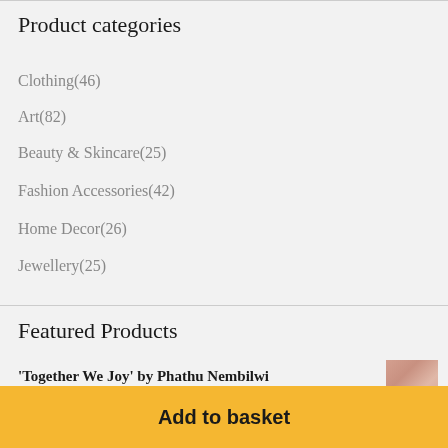Product categories
Clothing(46)
Art(82)
Beauty & Skincare(25)
Fashion Accessories(42)
Home Decor(26)
Jewellery(25)
Featured Products
'Together We Joy' by Phathu Nembilwi
R450.00
'Together We Joy by Miss...
Add to basket